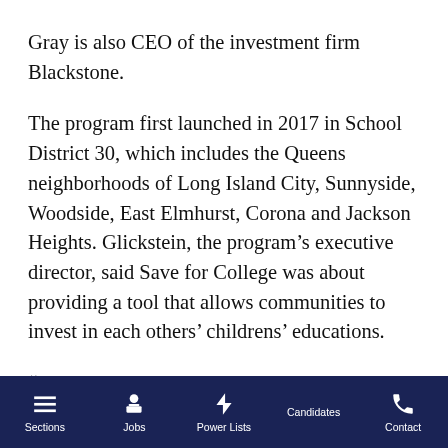Gray is also CEO of the investment firm Blackstone.
The program first launched in 2017 in School District 30, which includes the Queens neighborhoods of Long Island City, Sunnyside, Woodside, East Elmhurst, Corona and Jackson Heights. Glickstein, the program’s executive director, said Save for College was about providing a tool that allows communities to invest in each others’ childrens’ educations.
“Underlying this work has been this question, ‘what would it look like if we each took responsibility for all
Sections  Jobs  Power Lists  Candidates  Contact